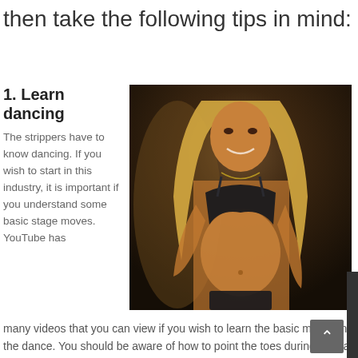then take the following tips in mind:
1. Learn dancing
[Figure (photo): A blonde woman in a black bikini top posing indoors with dim lighting]
The strippers have to know dancing. If you wish to start in this industry, it is important if you understand some basic stage moves. YouTube has many videos that you can view if you wish to learn the basic moves in dancing. You should be aware of the body awareness, smiles and eye contact during the dance. You should be aware of how to point the toes during the dance or you will look as if you are naked adult who tramp